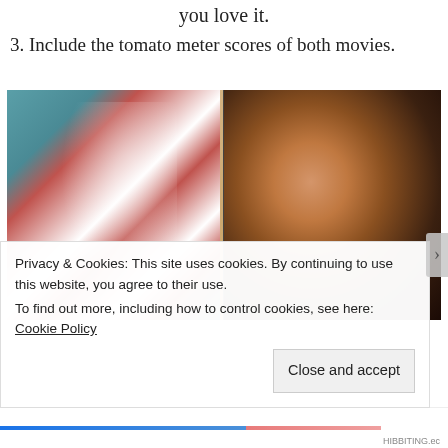you love it.
3. Include the tomato meter scores of both movies.
[Figure (photo): Split photo: left half shows a profile face silhouette reflected or overlaid on a red-and-white striped American flag background with teal tones; right half shows a woman's face in close profile against a dark background, with warm lighting on her features.]
Privacy & Cookies: This site uses cookies. By continuing to use this website, you agree to their use.
To find out more, including how to control cookies, see here: Cookie Policy
Close and accept